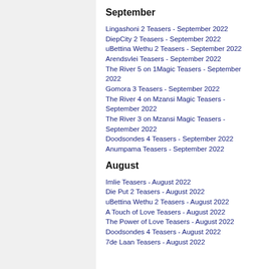September
Lingashoni 2 Teasers - September 2022
DiepCity 2 Teasers - September 2022
uBettina Wethu 2 Teasers - September 2022
Arendsvlei Teasers - September 2022
The River 5 on 1Magic Teasers - September 2022
Gomora 3 Teasers - September 2022
The River 4 on Mzansi Magic Teasers - September 2022
The River 3 on Mzansi Magic Teasers - September 2022
Doodsondes 4 Teasers - September 2022
Anumpama Teasers - September 2022
August
Imlie Teasers - August 2022
Die Put 2 Teasers - August 2022
uBettina Wethu 2 Teasers - August 2022
A Touch of Love Teasers - August 2022
The Power of Love Teasers - August 2022
Doodsondes 4 Teasers - August 2022
7de Laan Teasers - August 2022